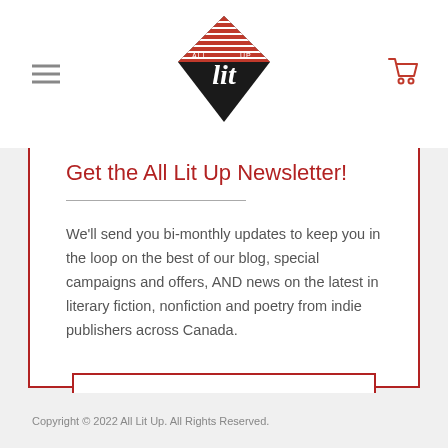[Figure (logo): All Lit Up diamond-shaped logo with red and black design and white script 'lit' text]
Get the All Lit Up Newsletter!
We'll send you bi-monthly updates to keep you in the loop on the best of our blog, special campaigns and offers, AND news on the latest in literary fiction, nonfiction and poetry from indie publishers across Canada.
JOIN THE LIST
Copyright © 2022 All Lit Up. All Rights Reserved.